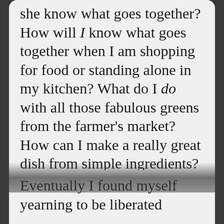she know what goes together? How will I know what goes together when I am shopping for food or standing alone in my kitchen? What do I do with all those fabulous greens from the farmer's market? How can I make a really great dish from simple ingredients? The Viand motivated me to move on from just the recipe on the page to wanting to understand more about food.
Eventually I found myself yearning to be liberated